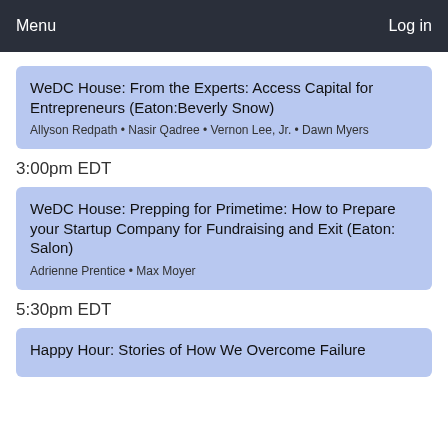Menu   Log in
WeDC House: From the Experts: Access Capital for Entrepreneurs (Eaton:Beverly Snow)
Allyson Redpath • Nasir Qadree • Vernon Lee, Jr. • Dawn Myers
3:00pm EDT
WeDC House: Prepping for Primetime: How to Prepare your Startup Company for Fundraising and Exit (Eaton: Salon)
Adrienne Prentice • Max Moyer
5:30pm EDT
Happy Hour: Stories of How We Overcome Failure